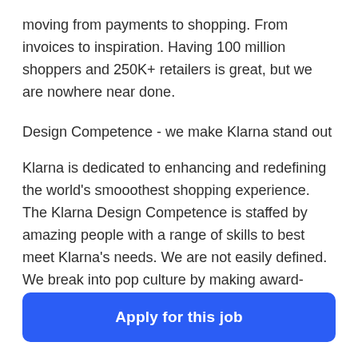moving from payments to shopping. From invoices to inspiration. Having 100 million shoppers and 250K+ retailers is great, but we are nowhere near done.
Design Competence - we make Klarna stand out
Klarna is dedicated to enhancing and redefining the world's smooothest shopping experience. The Klarna Design Competence is staffed by amazing people with a range of skills to best meet Klarna's needs. We are not easily defined. We break into pop culture by making award-
Apply for this job